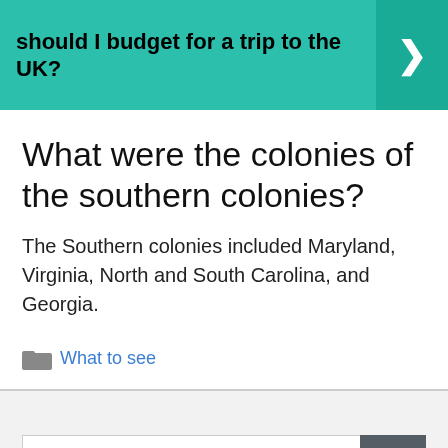should I budget for a trip to the UK?
What were the colonies of the southern colonies?
The Southern colonies included Maryland, Virginia, North and South Carolina, and Georgia.
What to see
[Figure (screenshot): Search bar with search button at the bottom of the page]